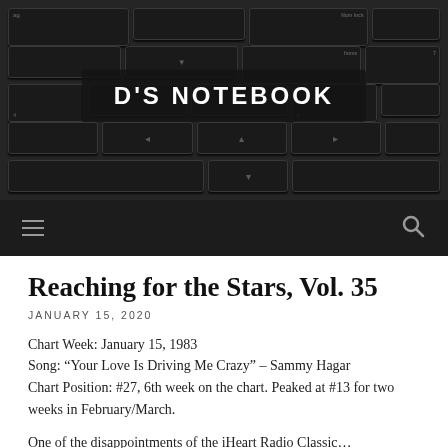[Figure (photo): A dark keyboard photograph used as a blog header background with the site title 'D'S NOTEBOOK' overlaid in white bold text on a dark semi-transparent box.]
D'S NOTEBOOK
Reaching for the Stars, Vol. 35
JANUARY 15, 2020
Chart Week: January 15, 1983
Song: “Your Love Is Driving Me Crazy” – Sammy Hagar
Chart Position: #27, 6th week on the chart. Peaked at #13 for two weeks in February/March.
One of the disappointments of the iHeart Radio Classic…